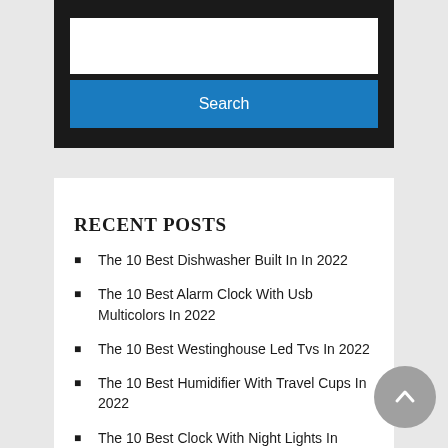[Figure (screenshot): Search widget with a white text input field and a blue Search button on a dark background]
RECENT POSTS
The 10 Best Dishwasher Built In In 2022
The 10 Best Alarm Clock With Usb Multicolors In 2022
The 10 Best Westinghouse Led Tvs In 2022
The 10 Best Humidifier With Travel Cups In 2022
The 10 Best Clock With Night Lights In